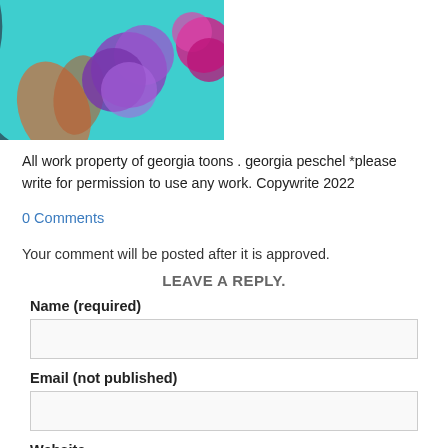[Figure (photo): DVD video image showing flowers (purple, pink chrysanthemums), teal/cyan water background, and a DVD logo in the bottom left corner.]
All work property of georgia toons . georgia peschel *please write for permission to use any work. Copywrite 2022
0 Comments
Your comment will be posted after it is approved.
LEAVE A REPLY.
Name (required)
Email (not published)
Website
Comments (required)